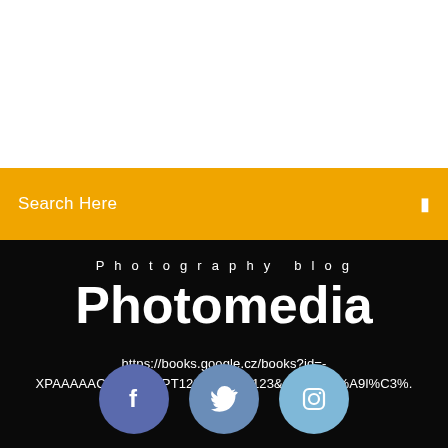[Figure (screenshot): White area at the top of the page, blank content area]
Search Here
Photography blog
Photomedia
https://books.google.cz/books?id=-XPAAAAAQBAJ&pg=PT123&lpg=PT123&dq=t%C3%A9l%C3%.
[Figure (infographic): Social media icons: Facebook (dark blue circle with f), Twitter (medium blue circle with bird), Instagram (light blue circle with camera)]